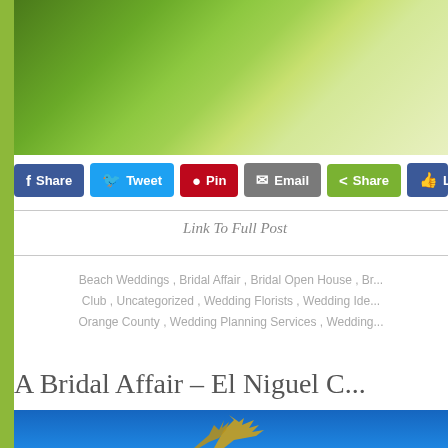[Figure (photo): Outdoor wedding setup with wooden chairs, potted plants, green grass, and a person partially visible on the right side]
[Figure (infographic): Social sharing buttons: Facebook Share, Twitter Tweet, Pinterest Pin, Email, Share, and Like buttons]
Link To Full Post
Beach Weddings , Bridal Affair , Bridal Open House , Br... Club , Uncategorized , Wedding Florists , Wedding Ide... Orange County , Wedding Planning Services , Wedding...
A Bridal Affair – El Niguel C...
[Figure (photo): Photo with blue sky background and a golden/bronze decorative tree branch sculpture]